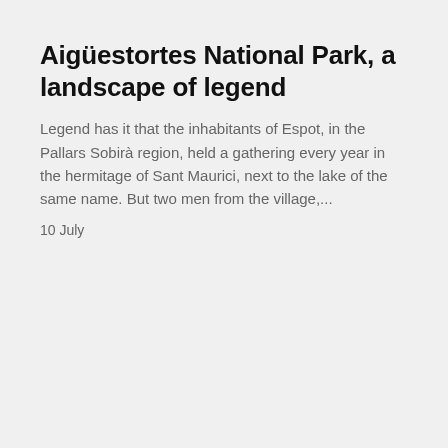Aigüestortes National Park, a landscape of legend
Legend has it that the inhabitants of Espot, in the Pallars Sobirà region, held a gathering every year in the hermitage of Sant Maurici, next to the lake of the same name. But two men from the village,...
10 July